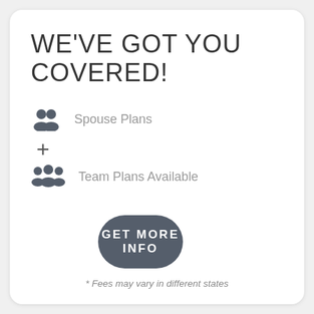WE'VE GOT YOU COVERED!
Spouse Plans
+
Team Plans Available
GET MORE INFO
* Fees may vary in different states